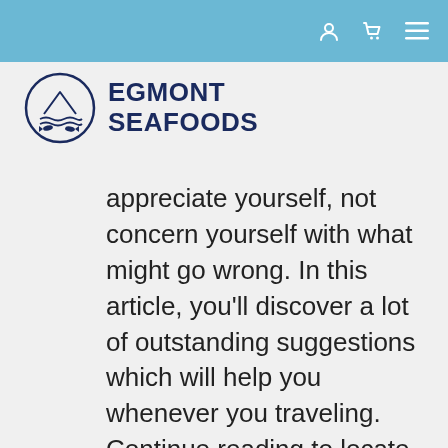[navigation bar with user, cart, and menu icons]
[Figure (logo): Egmont Seafoods logo: circular emblem with fish and waves, beside bold text reading EGMONT SEAFOODS]
appreciate yourself, not concern yourself with what might go wrong. In this article, you'll discover a lot of outstanding suggestions which will help you whenever you traveling. Continue reading to locate some good ways to make the most out of your traveling expertise.